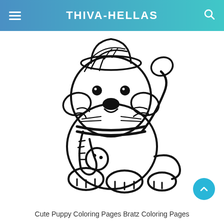THIVA-HELLAS
[Figure (illustration): Cute cartoon puppy coloring page line art: a fluffy puppy sitting, wearing a striped scarf and hat, one paw raised, with a round bell/bauble on its scarf, big eyes and nose, fluffy fur details, tail visible at the right side.]
Cute Puppy Coloring Pages Bratz Coloring Pages